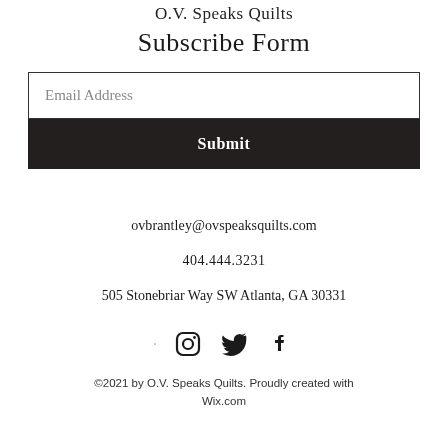O.V. Speaks Quilts
Subscribe Form
[Figure (other): Subscribe form with Email Address input field and Submit button]
ovbrantley@ovspeaksquilts.com
404.444.3231
505 Stonebriar Way SW Atlanta, GA 30331
[Figure (other): Social media icons: location pin, Instagram, Twitter, Facebook]
©2021 by O.V. Speaks Quilts. Proudly created with Wix.com